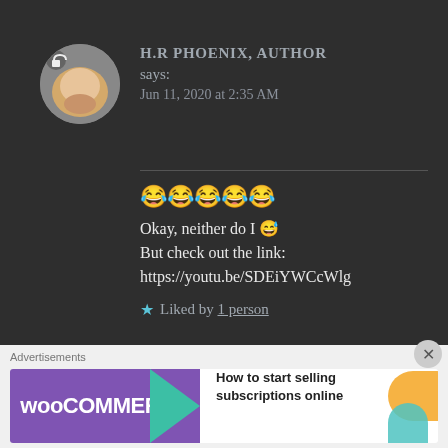[Figure (photo): Circular avatar showing a cat being held, with a small lock icon overlay]
H.R PHOENIX, AUTHOR
says:
Jun 11, 2020 at 2:35 AM
😂😂😂😂😂
Okay, neither do I 😅
But check out the link:
https://youtu.be/SDEiYWCcWlg
★ Liked by 1 person
Advertisements
[Figure (screenshot): WooCommerce advertisement banner: purple background with WooCommerce logo and arrow, text reads 'How to start selling subscriptions online']